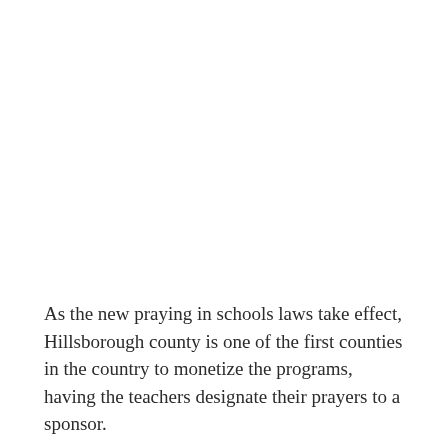As the new praying in schools laws take effect, Hillsborough county is one of the first counties in the country to monetize the programs, having the teachers designate their prayers to a sponsor.